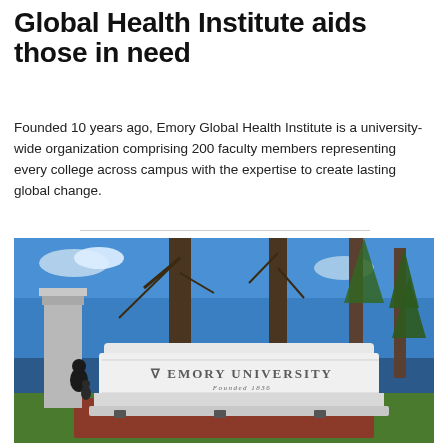Global Health Institute aids those in need
Founded 10 years ago, Emory Global Health Institute is a university-wide organization comprising 200 faculty members representing every college across campus with the expertise to create lasting global change.
[Figure (photo): Emory University entrance sign/monument made of white marble surrounded by trees on a bright sunny day, with a person walking nearby. The sign reads 'EMORY UNIVERSITY Founded 1836'.]